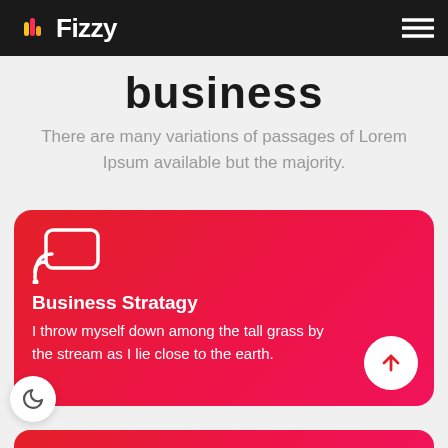Fizzy (navigation bar with logo and hamburger menu)
business
There are many variations of passages of Lorem Ipsum available but the majority.
[Figure (illustration): Red gradient card with a cast/screen-mirror icon, bold white title 'Business Stratagy', body text, and a white circular arrow button]
Business Stratagy
I throw myself down among the tall grass by the stream as I lie close to the earth.